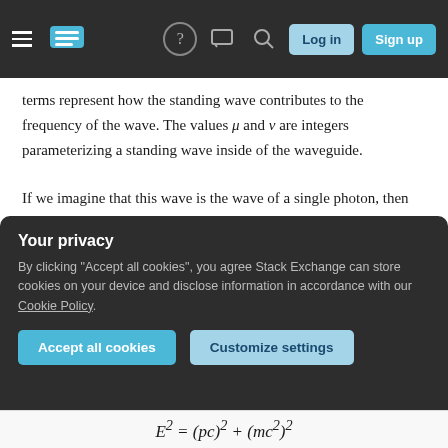Stack Exchange navigation bar with hamburger, logo, help, chat, search, Log in, Sign up buttons
terms represent how the standing wave contributes to the frequency of the wave. The values μ and ν are integers parameterizing a standing wave inside of the waveguide.
If we imagine that this wave is the wave of a single photon, then we know that the energy of that photon is given by E = ℏω, and the momentum of a photon is given by p = ℏk. Multiply the dispersion relationship by ℏ², in order to determine a relationship between the energy and momentum of the photon inside of the waveguide.
Your privacy
By clicking "Accept all cookies", you agree Stack Exchange can store cookies on your device and disclose information in accordance with our Cookie Policy.